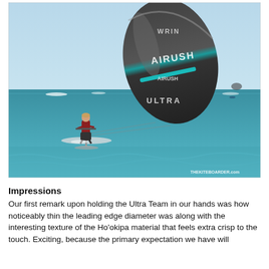[Figure (photo): A kitesurfer riding a hydrofoil board on turquoise ocean water, flying a large dark Airush Ultra kite with a light blue stripe. The sky is clear and light blue. Other water users are visible in the background. A watermark reads THEKITEBOARDER.com in the bottom right corner.]
Impressions
Our first remark upon holding the Ultra Team in our hands was how noticeably thin the leading edge diameter was along with the interesting texture of the Ho'okipa material that feels extra crisp to the touch. Exciting, because the primary expectation we have will